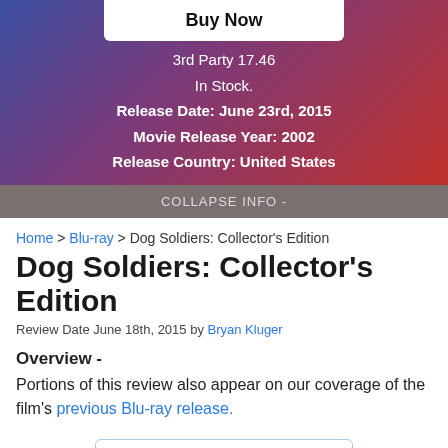Buy Now
3rd Party 17.46
In Stock.
Release Date: June 23rd, 2015
Movie Release Year: 2002
Release Country: United States
COLLAPSE INFO -
Home > Blu-ray > Dog Soldiers: Collector's Edition
Dog Soldiers: Collector's Edition
Review Date June 18th, 2015 by Bryan Kluger
Overview -
Portions of this review also appear on our coverage of the film's previous Blu-ray release.
OVERALL ★★★★☆
MUST OWN